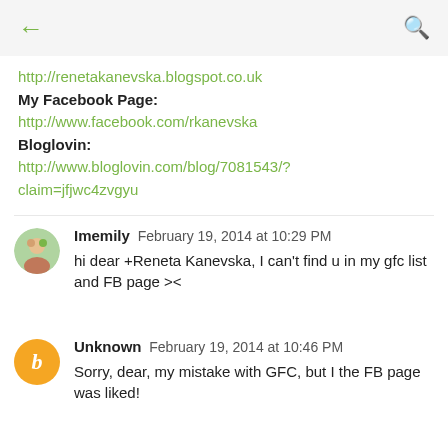← (back) Q (search)
http://renetakanevska.blogspot.co.uk
My Facebook Page:
http://www.facebook.com/rkanevska
Bloglovin:
http://www.bloglovin.com/blog/7081543/?claim=jfjwc4zvgyu
Imemily  February 19, 2014 at 10:29 PM
hi dear +Reneta Kanevska, I can't find u in my gfc list and FB page ><
Unknown  February 19, 2014 at 10:46 PM
Sorry, dear, my mistake with GFC, but I the FB page was liked!
Imemily  February 20, 2014 at 10:20 PM